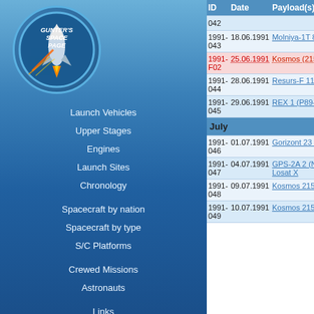[Figure (logo): Gunter's Space Page logo with rocket illustration]
Launch Vehicles
Upper Stages
Engines
Launch Sites
Chronology
Spacecraft by nation
Spacecraft by type
S/C Platforms
Crewed Missions
Astronauts
Links
Books
Unit Calculator
Contact
| ID | Date | Payload(s) |
| --- | --- | --- |
| 042 |  |  |
| 1991-043 | 18.06.1991 | Molniya-1T 81 (Molniya-1T 87L) |
| 1991-F02 | 25.06.1991 | Kosmos (2152) (Taifun-2 #26) / 24 R... |
| 1991-044 | 28.06.1991 | Resurs-F 11 (Resurs-F1 (17F43) #12) |
| 1991-045 | 29.06.1991 | REX 1 (P89-1A) |
| July |  |  |
| 1991-046 | 01.07.1991 | Gorizont 23 (Gorizont 34L) |
| 1991-047 | 04.07.1991 | GPS-2A 2 (Navstar 24, USA 71) Losat X |
| 1991-048 | 09.07.1991 | Kosmos 2152 (Zenit-8 #99, Oblik #99... |
| 1991-049 | 10.07.1991 | Kosmos 2153 (Yantar-4KS1M #1, Ner... |